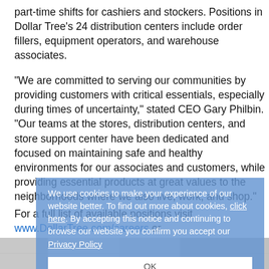part-time shifts for cashiers and stockers. Positions in Dollar Tree's 24 distribution centers include order fillers, equipment operators, and warehouse associates.
“We are committed to serving our communities by providing customers with critical essentials, especially during times of uncertainty,” stated CEO Gary Philbin. “Our teams at the stores, distribution centers, and store support center have been dedicated and focused on maintaining safe and healthy environments for our associates and customers, while providing essential products at great values to the neighborhoods where we also live, work, and shop.”
For a full list of available positions visit www.DollarTree.com/careers or www.FamilyDollar.com
We use cookies to make your experience of our website better. To find out more about cookies, click here. By accepting this notice and continuing to browse our website you confirm you accept our Privacy Policy
[Figure (photo): Bottom portion of a promotional image, partially visible]